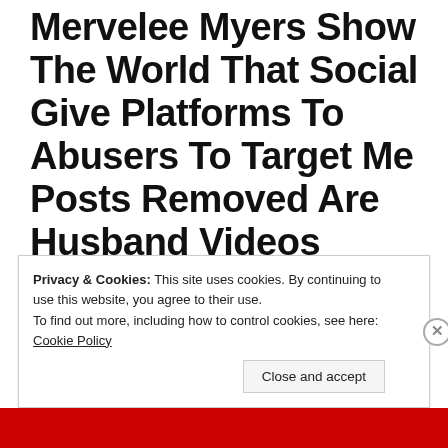Mervelee Myers Show The World That Social Give Platforms To Abusers To Target Me Posts Removed Are Husband Videos Birthday Celebration He Is 99 Years Old 8/3/2022
Privacy & Cookies: This site uses cookies. By continuing to use this website, you agree to their use.
To find out more, including how to control cookies, see here: Cookie Policy
Close and accept